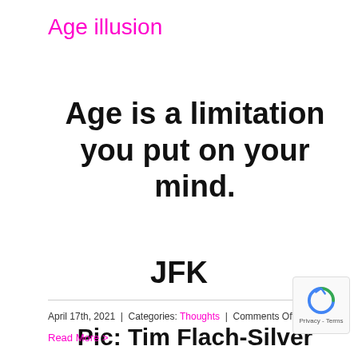Age illusion
Age is a limitation you put on your mind.
JFK
Pic: Tim Flach-Silver
April 17th, 2021 | Categories: Thoughts | Comments Off
Read More >